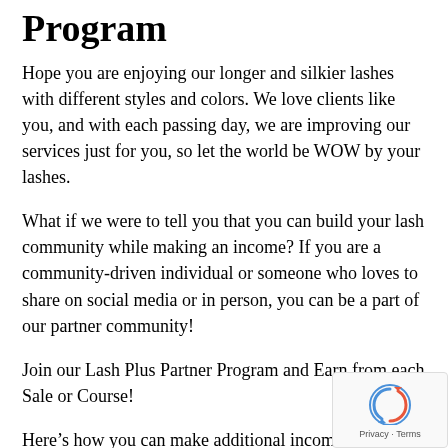Program
Hope you are enjoying our longer and silkier lashes with different styles and colors. We love clients like you, and with each passing day, we are improving our services just for you, so let the world be WOW by your lashes.
What if we were to tell you that you can build your lash community while making an income? If you are a community-driven individual or someone who loves to share on social media or in person, you can be a part of our partner community!
Join our Lash Plus Partner Program and Earn from each Sale or Course!
Here’s how you can make additional income wit
Be a partner of our brand and create an income by